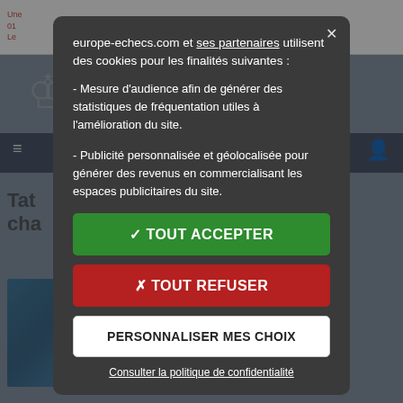[Figure (screenshot): Background of a chess website (europe-echecs.com) partially visible behind a cookie consent modal overlay. Shows white top bar with red text, chess piece icon, dark navigation bar, article title text, and book images at bottom.]
europe-echecs.com et ses partenaires utilisent des cookies pour les finalités suivantes :
- Mesure d'audience afin de générer des statistiques de fréquentation utiles à l'amélioration du site.
- Publicité personnalisée et géolocalisée pour générer des revenus en commercialisant les espaces publicitaires du site.
✓ TOUT ACCEPTER
✗ TOUT REFUSER
PERSONNALISER MES CHOIX
Consulter la politique de confidentialité